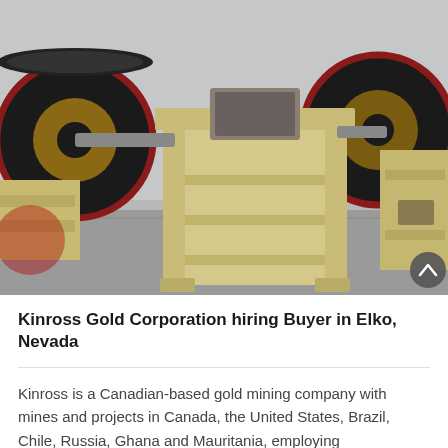[Figure (photo): Industrial jaw crusher machine with large black flywheels on left and right, painted in yellow/cream color, photographed in a warehouse or factory setting with grey concrete floor.]
Kinross Gold Corporation hiring Buyer in Elko, Nevada
Kinross is a Canadian-based gold mining company with mines and projects in Canada, the United States, Brazil, Chile, Russia, Ghana and Mauritania, employing